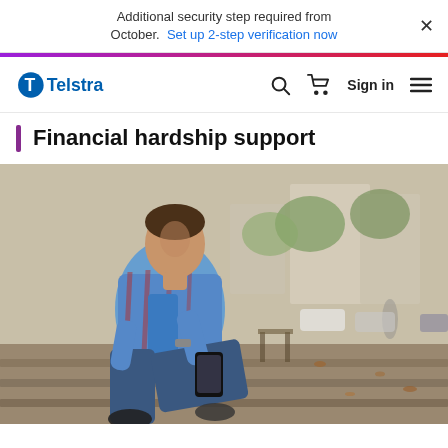Additional security step required from October. Set up 2-step verification now
[Figure (logo): Telstra logo - blue stylized T with Telstra wordmark]
Sign in
Financial hardship support
[Figure (photo): A young man sitting on stone steps outdoors, looking at his smartphone. He is wearing a blue plaid shirt over a blue t-shirt and jeans. Blurred background shows trees, parked cars, and buildings.]